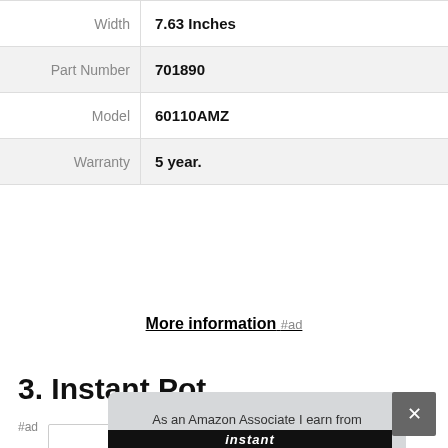| Attribute | Value |
| --- | --- |
| Width | 7.63 Inches |
| Part Number | 701890 |
| Model | 60110AMZ |
| Warranty | 5 year. |
More information #ad
3. Instant Pot
#ad
As an Amazon Associate I earn from qualifying purchases. This website uses the only necessary cookies to ensure you get the best experience on our website. More information